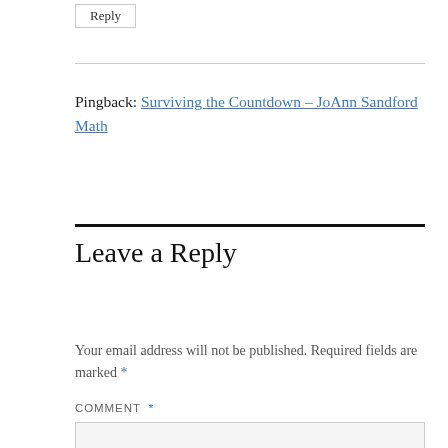Reply
Pingback: Surviving the Countdown – JoAnn Sandford Math
Leave a Reply
Your email address will not be published. Required fields are marked *
COMMENT *